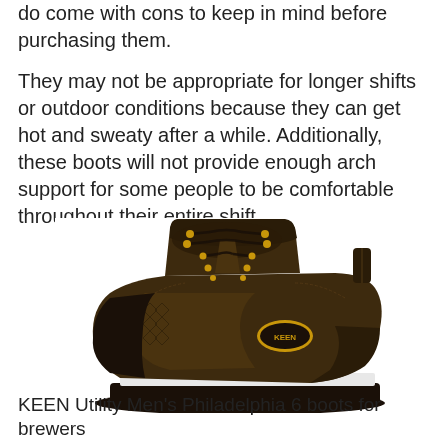do come with cons to keep in mind before purchasing them.
They may not be appropriate for longer shifts or outdoor conditions because they can get hot and sweaty after a while. Additionally, these boots will not provide enough arch support for some people to be comfortable throughout their entire shift.
[Figure (photo): KEEN Utility Men's Philadelphia 6 work boots for brewers — dark brown leather lace-up boot with yellow eyelets and KEEN logo badge, black toe cap and black sole, shown at an angle on white background.]
KEEN Utility Men's Philadelphia 6 boots for brewers